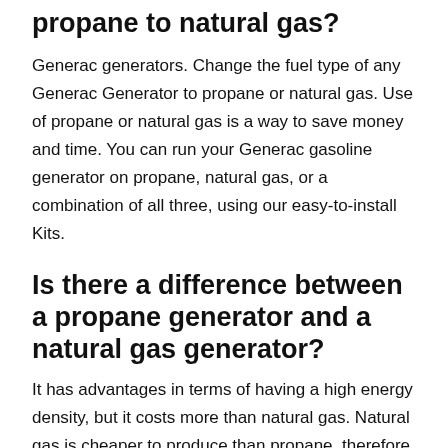propane to natural gas?
Generac generators. Change the fuel type of any Generac Generator to propane or natural gas. Use of propane or natural gas is a way to save money and time. You can run your Generac gasoline generator on propane, natural gas, or a combination of all three, using our easy-to-install Kits.
Is there a difference between a propane generator and a natural gas generator?
It has advantages in terms of having a high energy density, but it costs more than natural gas. Natural gas is cheaper to produce than propane, therefore it